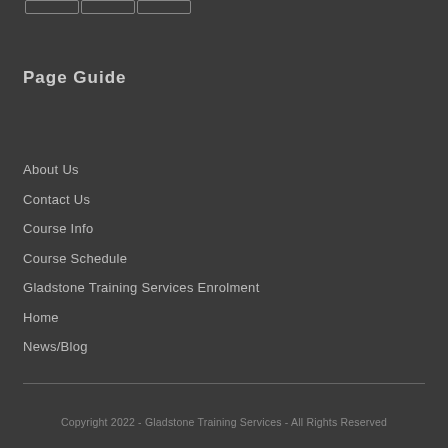Page Guide
About Us
Contact Us
Course Info
Course Schedule
Gladstone Training Services Enrolment
Home
News/Blog
Copyright 2022 - Gladstone Training Services - All Rights Reserved